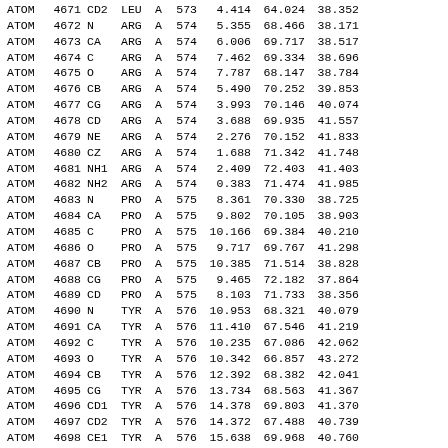| Record | Serial | Name | Res | Chain | Seq | X | Y | Z |  |
| --- | --- | --- | --- | --- | --- | --- | --- | --- | --- |
| ATOM | 4671 | CD2 | LEU | A | 573 | 4.414 | 64.024 | 38.352 |  |
| ATOM | 4672 | N | ARG | A | 574 | 5.355 | 68.466 | 38.171 |  |
| ATOM | 4673 | CA | ARG | A | 574 | 6.006 | 69.717 | 38.517 |  |
| ATOM | 4674 | C | ARG | A | 574 | 7.462 | 69.334 | 38.696 |  |
| ATOM | 4675 | O | ARG | A | 574 | 7.787 | 68.147 | 38.784 |  |
| ATOM | 4676 | CB | ARG | A | 574 | 5.490 | 70.252 | 39.853 |  |
| ATOM | 4677 | CG | ARG | A | 574 | 3.993 | 70.146 | 40.074 |  |
| ATOM | 4678 | CD | ARG | A | 574 | 3.688 | 69.935 | 41.557 |  |
| ATOM | 4679 | NE | ARG | A | 574 | 2.276 | 70.152 | 41.833 |  |
| ATOM | 4680 | CZ | ARG | A | 574 | 1.688 | 71.342 | 41.748 |  |
| ATOM | 4681 | NH1 | ARG | A | 574 | 2.409 | 72.403 | 41.403 |  |
| ATOM | 4682 | NH2 | ARG | A | 574 | 0.383 | 71.474 | 41.985 |  |
| ATOM | 4683 | N | PRO | A | 575 | 8.361 | 70.330 | 38.725 |  |
| ATOM | 4684 | CA | PRO | A | 575 | 9.802 | 70.105 | 38.903 |  |
| ATOM | 4685 | C | PRO | A | 575 | 10.166 | 69.384 | 40.210 |  |
| ATOM | 4686 | O | PRO | A | 575 | 9.717 | 69.767 | 41.298 |  |
| ATOM | 4687 | CB | PRO | A | 575 | 10.385 | 71.514 | 38.828 |  |
| ATOM | 4688 | CG | PRO | A | 575 | 9.465 | 72.182 | 37.864 |  |
| ATOM | 4689 | CD | PRO | A | 575 | 8.103 | 71.733 | 38.356 |  |
| ATOM | 4690 | N | TYR | A | 576 | 10.953 | 68.321 | 40.079 |  |
| ATOM | 4691 | CA | TYR | A | 576 | 11.410 | 67.546 | 41.219 |  |
| ATOM | 4692 | C | TYR | A | 576 | 10.235 | 67.086 | 42.062 |  |
| ATOM | 4693 | O | TYR | A | 576 | 10.342 | 66.857 | 43.272 |  |
| ATOM | 4694 | CB | TYR | A | 576 | 12.392 | 68.382 | 42.041 |  |
| ATOM | 4695 | CG | TYR | A | 576 | 13.734 | 68.563 | 41.367 |  |
| ATOM | 4696 | CD1 | TYR | A | 576 | 14.378 | 69.803 | 41.370 |  |
| ATOM | 4697 | CD2 | TYR | A | 576 | 14.372 | 67.488 | 40.739 |  |
| ATOM | 4698 | CE1 | TYR | A | 576 | 15.638 | 69.968 | 40.760 |  |
| ATOM | 4699 | CE2 | TYR | A | 576 | 15.625 | 67.642 | 40.127 |  |
| ATOM | 4700 | CZ | TYR | A | 576 | 16.251 | 68.883 | 40.145 |  |